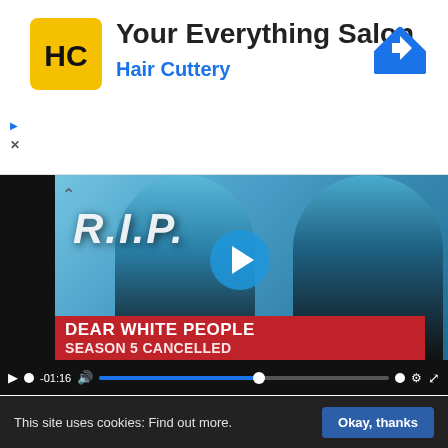[Figure (screenshot): Hair Cuttery ad banner with logo, title 'Your Everything Salon', subtitle 'Hair Cuttery', navigation arrow icon]
Your Everything Salon
Hair Cuttery
[Figure (screenshot): Video player showing 'Dear White People Season 5 Cancelled' with two women, R.I.P. text overlay, play button, red banner, and video controls showing -01:16]
DEAR WHITE PEOPLE Season 5 Not Happening as Netflix Series Ends With 90's Musical Event
⭐⭐⭐⭐⭐ (3 votes, average: 5.00 out of 5)
This site uses cookies: Find out more. Okay, thanks